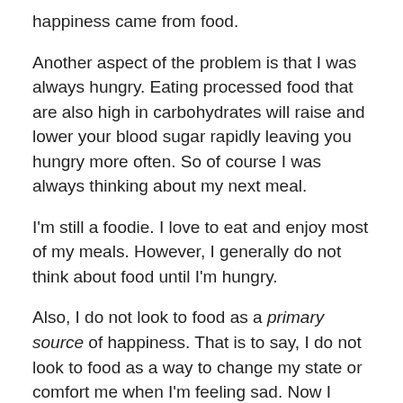happiness came from food.
Another aspect of the problem is that I was always hungry. Eating processed food that are also high in carbohydrates will raise and lower your blood sugar rapidly leaving you hungry more often. So of course I was always thinking about my next meal.
I'm still a foodie. I love to eat and enjoy most of my meals. However, I generally do not think about food until I'm hungry.
Also, I do not look to food as a primary source of happiness. That is to say, I do not look to food as a way to change my state or comfort me when I'm feeling sad. Now I much more look to exercise and other resources to change my state.
Worrying About “Wasting” Food